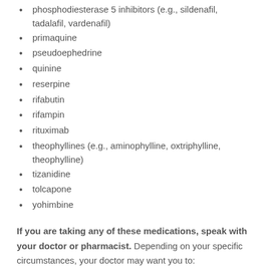phosphodiesterase 5 inhibitors (e.g., sildenafil, tadalafil, vardenafil)
primaquine
pseudoephedrine
quinine
reserpine
rifabutin
rifampin
rituximab
theophyllines (e.g., aminophylline, oxtriphylline, theophylline)
tizanidine
tolcapone
yohimbine
If you are taking any of these medications, speak with your doctor or pharmacist. Depending on your specific circumstances, your doctor may want you to: